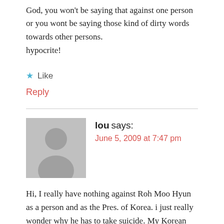God, you won't be saying that against one person or you wont be saying those kind of dirty words towards other persons.
hypocrite!
Like
Reply
lou says:
June 5, 2009 at 7:47 pm
Hi, I really have nothing against Roh Moo Hyun as a person and as the Pres. of Korea. i just really wonder why he has to take suicide. My Korean students tell good things about him, but they too say it's not a